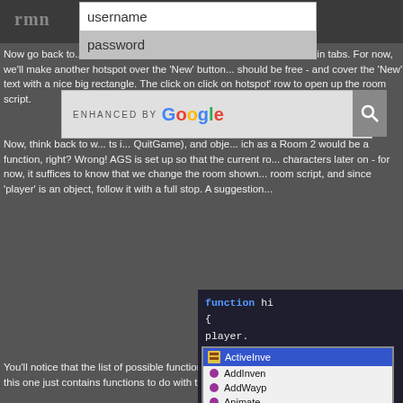rmn [navigation bar with username/password search]
Now go back to... room scripts in tabs. For now, we'll make another hotspot over the 'New' button... should be free - and cover the 'New' text with a nice big rectangle. The click on click on hotspot' row to open up the room script.
[Figure (screenshot): ENHANCED BY Google search overlay with search icon]
Now, think back to w... ts i... QuitGame), and obje... ich as a Room 2 would be a function, right? Wrong! AGS is set up so that the current ro... characters later on - for now, it suffices to know that we change the room show... room script, and since 'player' is an object, follow it with a full stop. A suggestion...
[Figure (screenshot): AGS code editor showing: function hi... { player. with autocomplete dropdown listing ActiveInve..., AddInven..., AddWayp..., Animate, Animating..., Animation..., Baseline, BlinkInterv...]
You'll notice that the list of possible functions here is different than the pop-up li... while this one just contains functions to do with this particular object. I recomme...